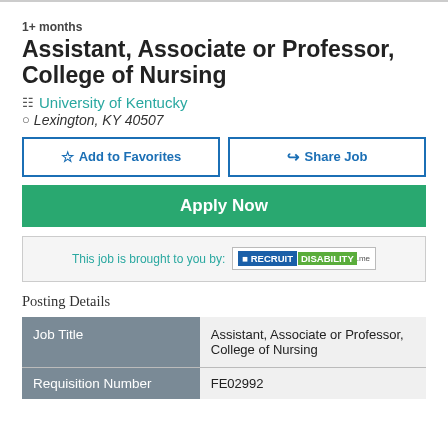1+ months
Assistant, Associate or Professor, College of Nursing
University of Kentucky
Lexington, KY 40507
Add to Favorites
Share Job
Apply Now
This job is brought to you by: RECRUIT DISABILITY
Posting Details
| Job Title |  |
| --- | --- |
| Job Title | Assistant, Associate or Professor, College of Nursing |
| Requisition Number | FE02992 |